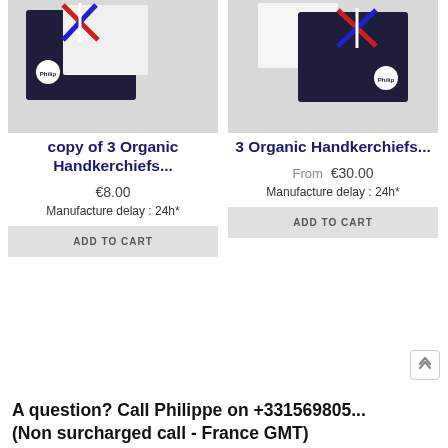[Figure (photo): Product photo: dark navy gift box with French tricolor ribbon and white handkerchiefs, left product]
copy of 3 Organic Handkerchiefs...
€8.00
Manufacture delay : 24h*
ADD TO CART
[Figure (photo): Product photo: dark navy gift box with French tricolor ribbon and white handkerchiefs, right product]
3 Organic Handkerchiefs...
From  €30.00
Manufacture delay : 24h*
ADD TO CART
A question? Call Philippe on +331569805... (Non surcharged call - France GMT)